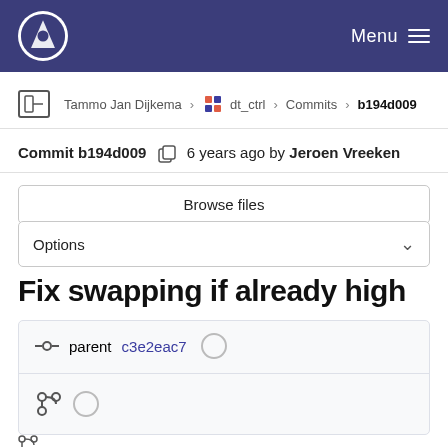Menu
Tammo Jan Dijkema > dt_ctrl > Commits > b194d009
Commit b194d009  6 years ago by Jeroen Vreeken
Browse files
Options
Fix swapping if already high
parent c3e2eac7
[Figure (screenshot): Branch icon with circle]